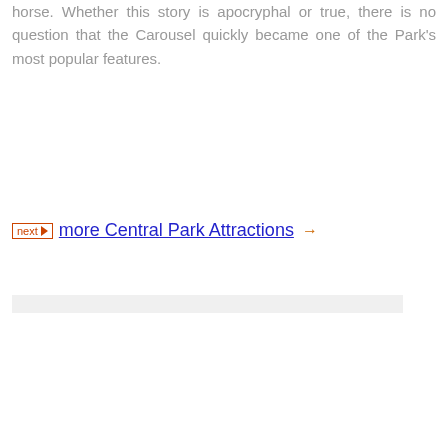horse. Whether this story is apocryphal or true, there is no question that the Carousel quickly became one of the Park's most popular features.
more Central Park Attractions →
ADVERTISING